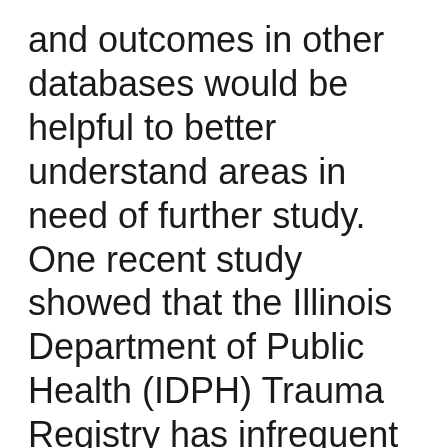and outcomes in other databases would be helpful to better understand areas in need of further study. One recent study showed that the Illinois Department of Public Health (IDPH) Trauma Registry has infrequent incongruent dispositions, a finding suggesting high reliability [9]. Studies suggest that unreliable datasets may